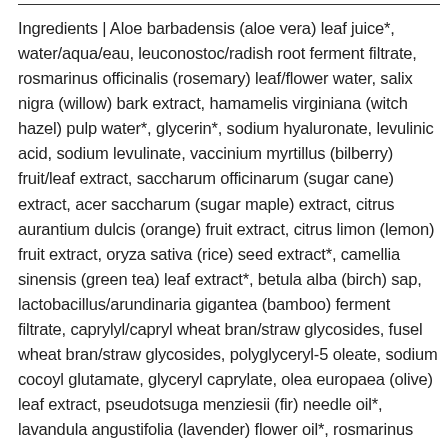Ingredients | Aloe barbadensis (aloe vera) leaf juice*, water/aqua/eau, leuconostoc/radish root ferment filtrate, rosmarinus officinalis (rosemary) leaf/flower water, salix nigra (willow) bark extract, hamamelis virginiana (witch hazel) pulp water*, glycerin*, sodium hyaluronate, levulinic acid, sodium levulinate, vaccinium myrtillus (bilberry) fruit/leaf extract, saccharum officinarum (sugar cane) extract, acer saccharum (sugar maple) extract, citrus aurantium dulcis (orange) fruit extract, citrus limon (lemon) fruit extract, oryza sativa (rice) seed extract*, camellia sinensis (green tea) leaf extract*, betula alba (birch) sap, lactobacillus/arundinaria gigantea (bamboo) ferment filtrate, caprylyl/capryl wheat bran/straw glycosides, fusel wheat bran/straw glycosides, polyglyceryl-5 oleate, sodium cocoyl glutamate, glyceryl caprylate, olea europaea (olive) leaf extract, pseudotsuga menziesii (fir) needle oil*, lavandula angustifolia (lavender) flower oil*, rosmarinus officinalis (rosemary) leaf oil, pelargonium graveolens (geranium) leaf/flower oil*, boswellia carterii (frankincense)